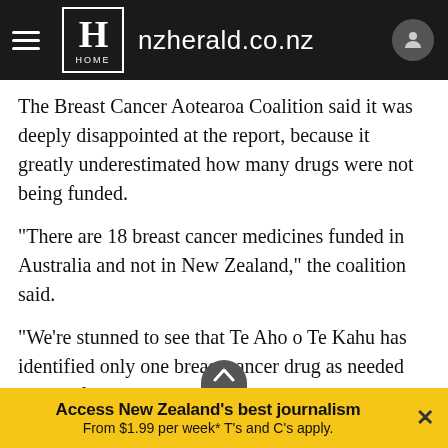nzherald.co.nz
The Breast Cancer Aotearoa Coalition said it was deeply disappointed at the report, because it greatly underestimated how many drugs were not being funded.
"There are 18 breast cancer medicines funded in Australia and not in New Zealand," the coalition said.
"We're stunned to see that Te Aho o Te Kahu has identified only one breast cancer drug as needed but not funded in New Zealand."
It said countless New Zealanders faced the pressure of
Access New Zealand's best journalism From $1.99 per week* T's and C's apply.